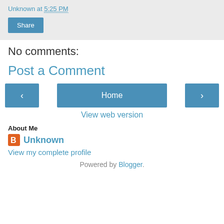Unknown at 5:25 PM
Share
No comments:
Post a Comment
[Figure (other): Navigation buttons: left arrow, Home, right arrow]
View web version
About Me
Unknown
View my complete profile
Powered by Blogger.